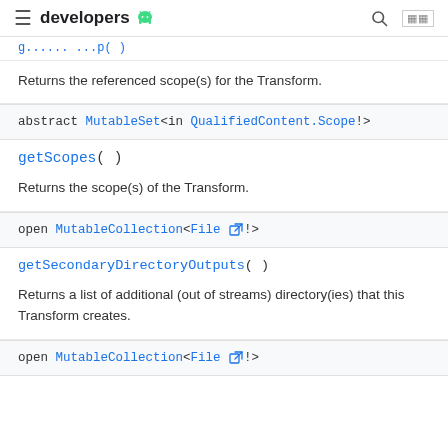developers
Returns the referenced scope(s) for the Transform.
abstract MutableSet<in QualifiedContent.Scope!>
getScopes( )
Returns the scope(s) of the Transform.
open MutableCollection<File !>
getSecondaryDirectoryOutputs( )
Returns a list of additional (out of streams) directory(ies) that this Transform creates.
open MutableCollection<File !>